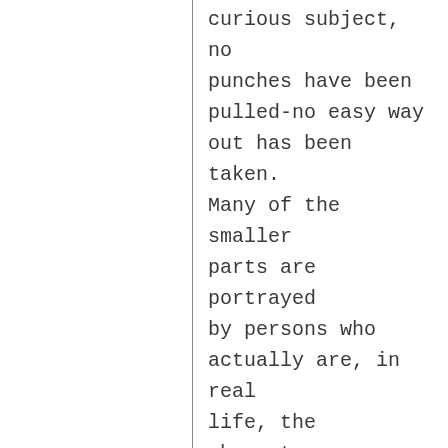curious subject, no punches have been pulled-no easy way out has been taken. Many of the smaller parts are portrayed by persons who actually are, in real life, the character they portray on the screen. This is a picture of stark realism-taking no sides-but giving you the facts— All the facts, as they are